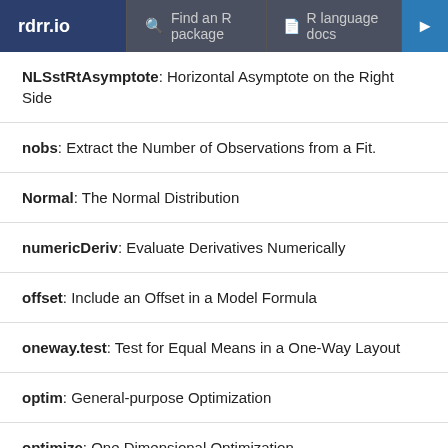rdrr.io | Find an R package | R language docs
NLSstRtAsymptote: Horizontal Asymptote on the Right Side
nobs: Extract the Number of Observations from a Fit.
Normal: The Normal Distribution
numericDeriv: Evaluate Derivatives Numerically
offset: Include an Offset in a Model Formula
oneway.test: Test for Equal Means in a One-Way Layout
optim: General-purpose Optimization
optimize: One Dimensional Optimization
order.dendrogram: Ordering or Labels of the Leaves in a Dendrogram